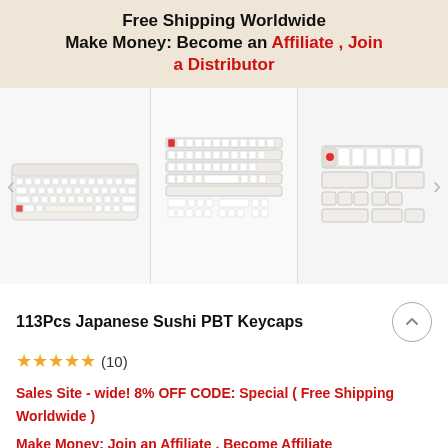Free Shipping Worldwide
Make Money: Become an Affiliate , Join a Distributor
[Figure (photo): Carousel of three product images: (1) a white mechanical keyboard with Japanese keycaps, (2) a full keycap set layout diagram, (3) close-up of keycap group with white and patterned caps]
113Pcs Japanese Sushi PBT Keycaps
★★★★★ (10)
Sales Site - wide! 8% OFF CODE: Special ( Free Shipping Worldwide )
Make Money: Join an Affiliate , Become Affiliate Partners
SKU: 2196593